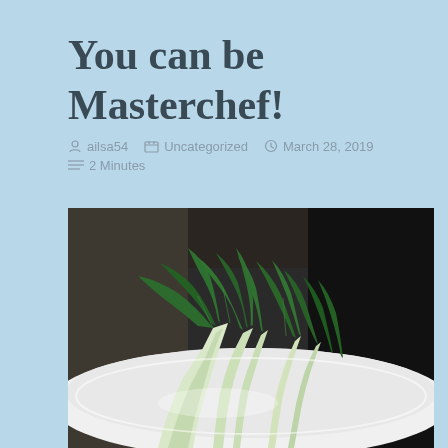You can be Masterchef!
ailsa54   Uncategorized   March 28, 2019   2 Minutes
[Figure (photo): Photograph of bok choy (pak choi) arranged on a white plate against a dark background]